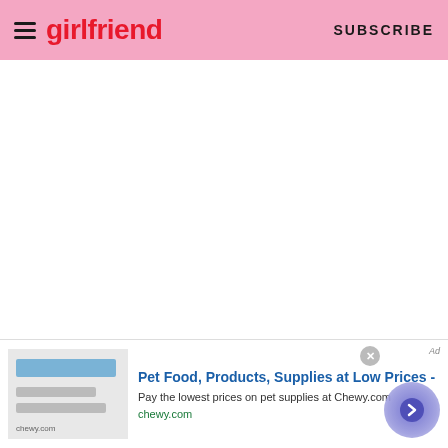girlfriend  SUBSCRIBE
[Figure (other): Large white blank content area, likely an embedded image or video placeholder]
Thankfully, after Lili started to see the mess growing online, she took to her Instagram stories to clear the air.
"It's unfortunate that one unflattering photo of my stomach
[Figure (other): Advertisement banner for Chewy.com: Pet Food, Products, Supplies at Low Prices - Pay the lowest prices on pet supplies at Chewy.com]